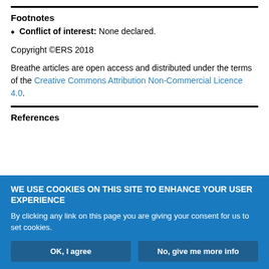Footnotes
Conflict of interest: None declared.
Copyright ©ERS 2018
Breathe articles are open access and distributed under the terms of the Creative Commons Attribution Non-Commercial Licence 4.0.
References
WE USE COOKIES ON THIS SITE TO ENHANCE YOUR USER EXPERIENCE
By clicking any link on this page you are giving your consent for us to set cookies.
OK, I agree
No, give me more info